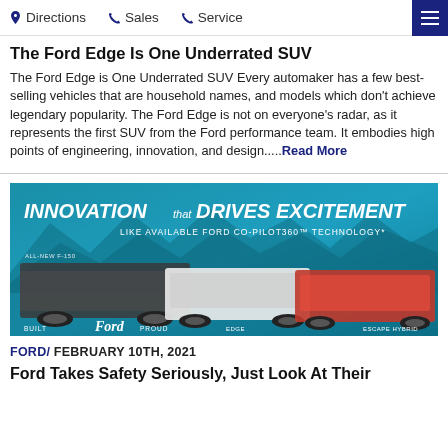Directions  Sales  Service
The Ford Edge Is One Underrated SUV
The Ford Edge is One Underrated SUV Every automaker has a few best-selling vehicles that are household names, and models which don't achieve legendary popularity. The Ford Edge is not on everyone's radar, as it represents the first SUV from the Ford performance team. It embodies high points of engineering, innovation, and design.....Read More
[Figure (photo): Ford advertisement banner showing three vehicles (F-150, Edge, Escape Hybrid) against a blue mountain background with text 'INNOVATION THAT DRIVES EXCITEMENT LIKE AVAILABLE FORD CO-PILOT360 TECHNOLOGY' and 'BUILT Ford PROUD']
FORD/ FEBRUARY 10TH, 2021
Ford Takes Safety Seriously, Just Look At Their